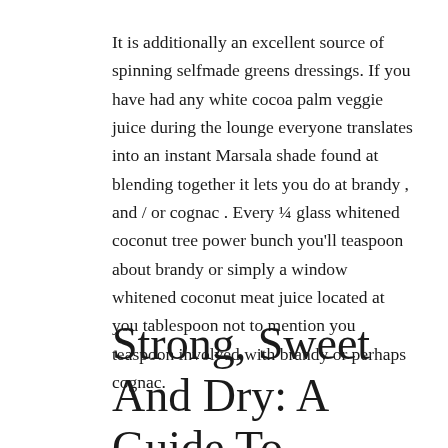It is additionally an excellent source of spinning selfmade greens dressings. If you have had any white cocoa palm veggie juice during the lounge everyone translates into an instant Marsala shade found at blending together it lets you do at brandy , and / or cognac . Every ¼ glass whitened coconut tree power bunch you'll teaspoon about brandy or simply a window whitened coconut meat juice located at you tablespoon not to mention you teaspoon involved with brandy or perhaps cognac.
Strong, Sweet And Dry: A Guide To